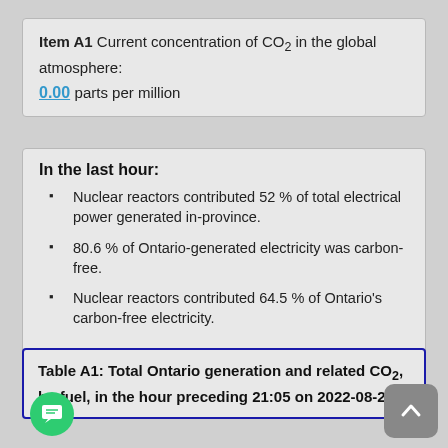Item A1 Current concentration of CO2 in the global atmosphere: 0.00 parts per million
In the last hour:
Nuclear reactors contributed 52 % of total electrical power generated in-province.
80.6 % of Ontario-generated electricity was carbon-free.
Nuclear reactors contributed 64.5 % of Ontario's carbon-free electricity.
Table A1: Total Ontario generation and related CO2, by fuel, in the hour preceding 21:05 on 2022-08-28